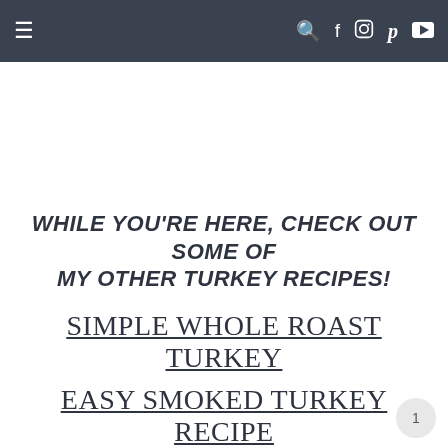≡   🔍 f 📷 𝗽 ▶
WHILE YOU'RE HERE, CHECK OUT SOME OF MY OTHER TURKEY RECIPES!
SIMPLE WHOLE ROAST TURKEY
EASY SMOKED TURKEY RECIPE
JUICY WHOLE ROAST TURKEY